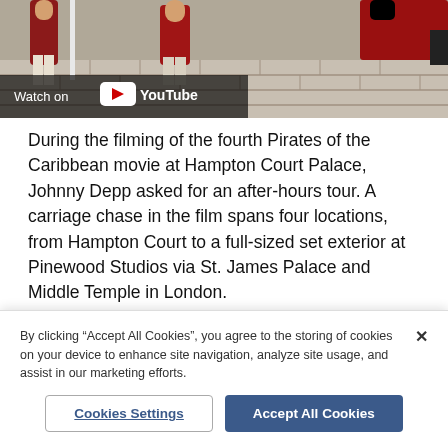[Figure (screenshot): YouTube video thumbnail showing people in period costumes (Pirates of the Caribbean film) on cobblestones, with a 'Watch on YouTube' overlay in bottom left corner.]
During the filming of the fourth Pirates of the Caribbean movie at Hampton Court Palace, Johnny Depp asked for an after-hours tour. A carriage chase in the film spans four locations, from Hampton Court to a full-sized set exterior at Pinewood Studios via St. James Palace and Middle Temple in London.
10. The Mummy (1999) — Famdav Bask...
By clicking "Accept All Cookies", you agree to the storing of cookies on your device to enhance site navigation, analyze site usage, and assist in our marketing efforts.